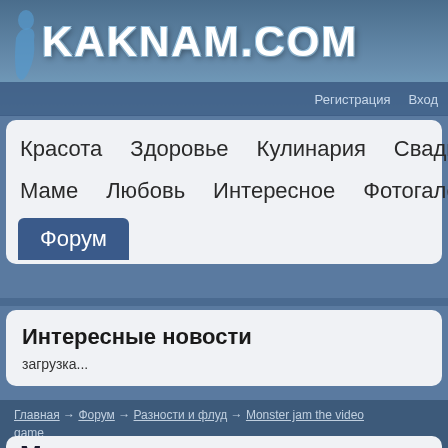KAKNAM.COM
Регистрация   Вход
Красота
Здоровье
Кулинария
Свадьба
Маме
Любовь
Интересное
Фотогалерея
Форум
Интересные новости
загрузка...
Главная → Форум → Разности и флуд → Monster jam the video game
Monster jam the video game